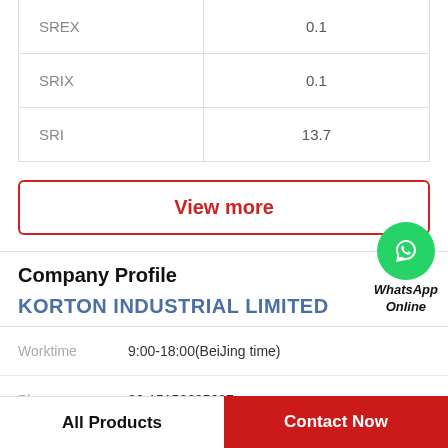|  |  |
| --- | --- |
| SREX | 0.1 |
| SRIX | 0.1 |
| SRI | 13.7 |
View more
Company Profile
[Figure (logo): WhatsApp Online green circle icon with phone handset, labeled WhatsApp Online]
KORTON INDUSTRIAL LIMITED
Worktime   9:00-18:00(BeiJing time)
Phone   86-15153695687
All Products
Contact Now